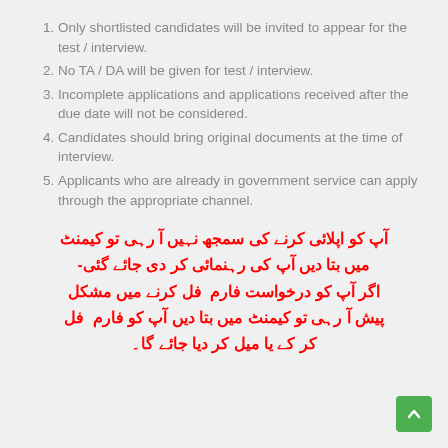Only shortlisted candidates will be invited to appear for the test / interview.
No TA / DA will be given for test / interview.
Incomplete applications and applications received after the due date will not be considered.
Candidates should bring original documents at the time of interview.
Applicants who are already in government service can apply through the appropriate channel.
آپ کو اپلائی کرنے کی سمجھ نہیں آ رہی تو کیمنٹ میں بتا دیں آپ کی رہنمائی کر دی جائے گئی- اگر آپ کو درخواست فارم فل کرنے میں مشکل پیش آ رہی تو کیمنٹ میں بتا دیں آپ کو فارم فل کر کے یا میل کر دیا جائے گا۔